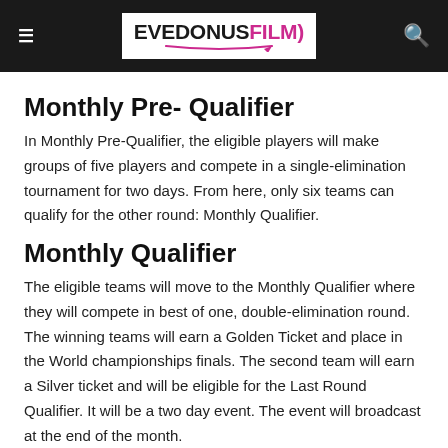EVEDONUS FILM
Monthly Pre- Qualifier
In Monthly Pre-Qualifier, the eligible players will make groups of five players and compete in a single-elimination tournament for two days. From here, only six teams can qualify for the other round: Monthly Qualifier.
Monthly Qualifier
The eligible teams will move to the Monthly Qualifier where they will compete in best of one, double-elimination round. The winning teams will earn a Golden Ticket and place in the World championships finals. The second team will earn a Silver ticket and will be eligible for the Last Round Qualifier. It will be a two day event. The event will broadcast at the end of the month.